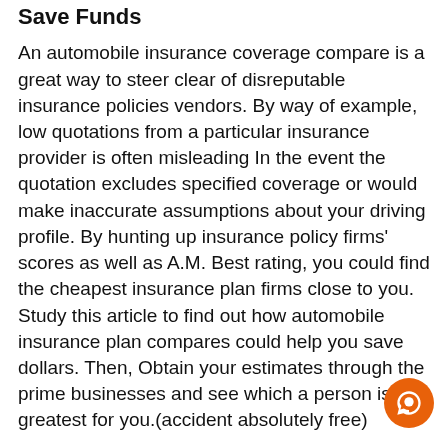Save Funds
An automobile insurance coverage compare is a great way to steer clear of disreputable insurance policies vendors. By way of example, low quotations from a particular insurance provider is often misleading In the event the quotation excludes specified coverage or would make inaccurate assumptions about your driving profile. By hunting up insurance policy firms' scores as well as A.M. Best rating, you could find the cheapest insurance plan firms close to you. Study this article to find out how automobile insurance plan compares could help you save dollars. Then, Obtain your estimates through the prime businesses and see which a person is the greatest for you.(accident absolutely free)
Rates are depending on credit rating-based insurance policies score
Your credit rating-dependent insurance plan rating is really a valuable indicator of how much chance you're more like pose, but you mustn't let it dictate your fees. The federal